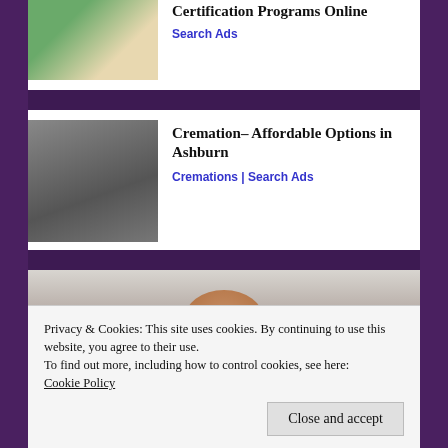[Figure (photo): Teacher/instructor smiling with arms crossed in a classroom setting]
Certification Programs Online
Search Ads
[Figure (photo): Dark grey casket/coffin on white background]
Cremation- Affordable Options in Ashburn
Cremations | Search Ads
[Figure (photo): Person with red/brown hair in an academic or office setting]
Privacy & Cookies: This site uses cookies. By continuing to use this website, you agree to their use.
To find out more, including how to control cookies, see here:
Cookie Policy
Close and accept